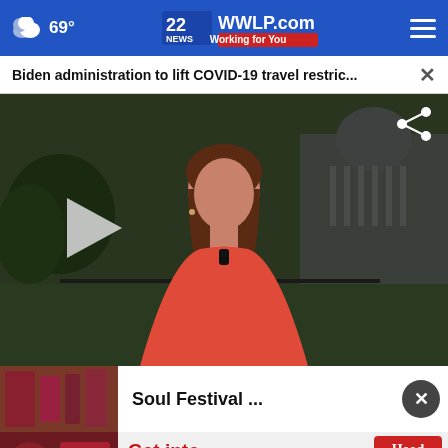69° | 22WWLP.com Working for You
Biden administration to lift COVID-19 travel restric...
[Figure (screenshot): News anchor in red dress with US Capitol building background, video player paused. Share icon top right, play button on left.]
Soul Festival ...
[Figure (photo): Advertisement banner: Get into something NEW - Hood Cottage Cheese Whipped]